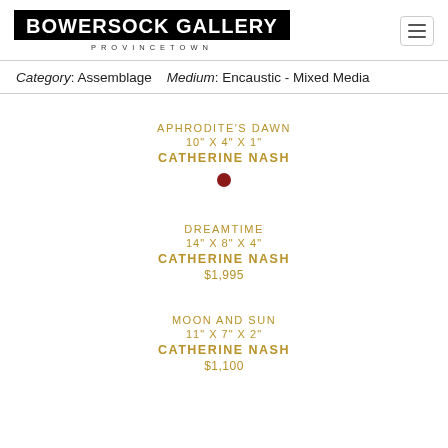BOWERSOCK GALLERY PROVINCETOWN
Category: Assemblage   Medium: Encaustic - Mixed Media
APHRODITE'S DAWN
10" X 4" X 1"
CATHERINE NASH
DREAMTIME
14" X 8" X 4"
CATHERINE NASH
$1,995
MOON AND SUN
11" X 7" X 2"
CATHERINE NASH
$1,100